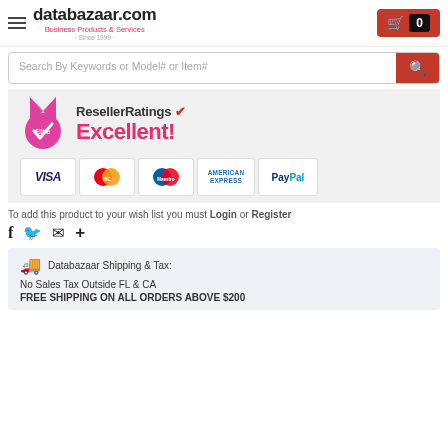databazaar.com – Business Products & Services · Since 1999
Search By Keywords or Model# or Item#
[Figure (infographic): ResellerRatings Elite badge with pink medal and checkmark, Excellent! rating label, and payment method logos: VISA, MasterCard, Maestro, American Express, PayPal]
To add this product to your wish list you must Login or Register
Social share icons: Facebook, Twitter, Email, More
Databazaar Shipping & Tax:
No Sales Tax Outside FL & CA
FREE SHIPPING ON ALL ORDERS ABOVE $200